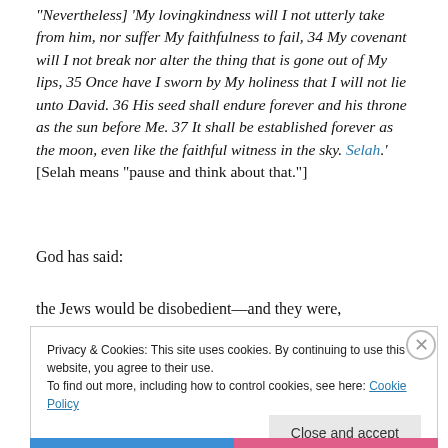"Nevertheless] 'My lovingkindness will I not utterly take from him, nor suffer My faithfulness to fail, 34 My covenant will I not break nor alter the thing that is gone out of My lips, 35 Once have I sworn by My holiness that I will not lie unto David. 36 His seed shall endure forever and his throne as the sun before Me. 37 It shall be established forever as the moon, even like the faithful witness in the sky. Selah.' [Selah means "pause and think about that."]
God has said:
the Jews would be disobedient—and they were,
Privacy & Cookies: This site uses cookies. By continuing to use this website, you agree to their use.
To find out more, including how to control cookies, see here: Cookie Policy